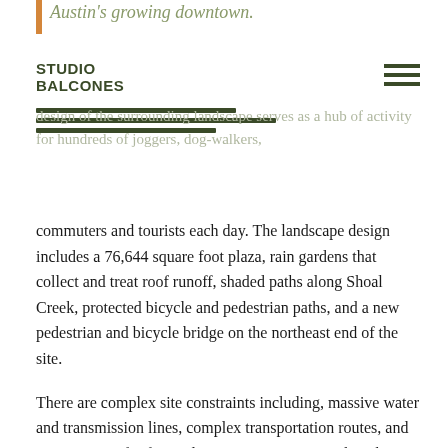Austin's growing downtown.
...design of the surrounding landscape serves as a hub of activity for hundreds of joggers, dog-walkers, commuters and tourists each day. The landscape design includes a 76,644 square foot plaza, rain gardens that collect and treat roof runoff, shaded paths along Shoal Creek, protected bicycle and pedestrian paths, and a new pedestrian and bicycle bridge on the northeast end of the site.
There are complex site constraints including, massive water and transmission lines, complex transportation routes, and requirements for fire and crane access. Despite this, the design solution embraces and navigated these challenges through thoughtful circulation, diverse plantings for a dramatic range of conditions, and precise grading to meet existing grades – ultimately creating a safe and connected cityscape. Heritage Pecan and Live Oak trees were